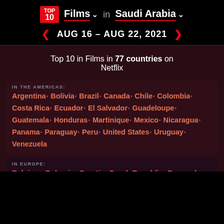TOP 10 | Films ▾ in Saudi Arabia ▾
AUG 16 – AUG 22, 2021
Top 10 in Films in 77 countries on Netflix
IN THE AMERICAS: Argentina · Bolivia · Brazil · Canada · Chile · Colombia · Costa Rica · Ecuador · El Salvador · Guadeloupe · Guatemala · Honduras · Martinique · Mexico · Nicaragua · Panama · Paraguay · Peru · United States · Uruguay · Venezuela
IN EUROPE: Belgium · Bulgaria · Croatia · Czech Republic · Denmark · Estonia · Finland · France · Greece · Hungary · Iceland · Ireland · Italy · Latvia · Lithuania · Luxembourg · Malta · Netherlands · Norway · Poland · Portugal